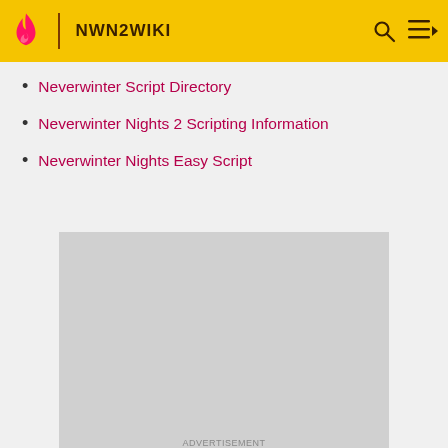NWN2WIKI
Neverwinter Script Directory
Neverwinter Nights 2 Scripting Information
Neverwinter Nights Easy Script
[Figure (other): Gray advertisement placeholder box]
ADVERTISEMENT